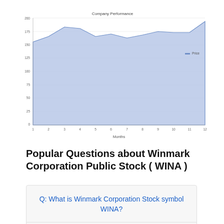[Figure (area-chart): Company Performance]
Popular Questions about Winmark Corporation Public Stock ( WINA )
Q: What is Winmark Corporation Stock symbol WINA?
A: Winmark Corporation stock symbol (also